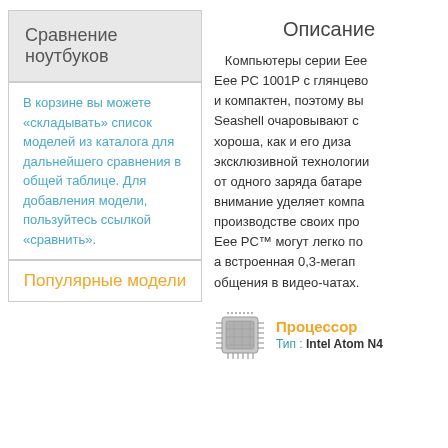Сравнение ноутбуков
В корзине вы можете «складывать» список моделей из каталога для дальнейшего сравнения в общей таблице. Для добавления модели, пользуйтесь ссылкой «сравнить».
Популярные модели
Описание
Компьютеры серии Eee PC 1001P с глянцево и компактен, поэтому вы Seashell очаровывают с хороша, как и его диза эксклюзивной технологии от одного заряда батаре внимание уделяет компа производстве своих про Eee PC™ могут легко по а встроенная 0,3-мегап общения в видео-чатах.
Процессор
Тип : Intel Atom N4